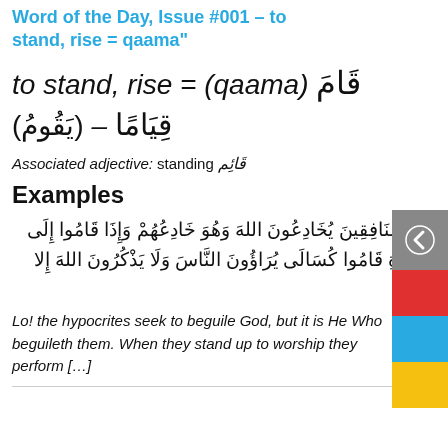Word of the Day, Issue #001 – to stand, rise = qaama
to stand, rise = (qaama) قَامَ – (يَقُومُ) – قِيَامًا
Associated adjective: standing قَائِم
Examples
إِنَّ الْمُنَافِقِينَ يُخَادِعُونَ الله وَهُوَ خَادِعُهُمْ وَإِذَا قَامُوا إِلَى الصَّلاةِ قَامُوا كُسَالَى يُرَاؤُونَ النَّاسَ وَلَا يَذْكُرُونَ الله إِلا قَلِيلًا
Lo! the hypocrites seek to beguile God, but it is He Who beguileth them. When they stand up to worship they perform […]